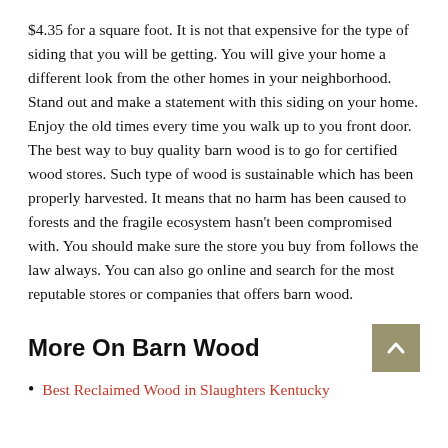$4.35 for a square foot. It is not that expensive for the type of siding that you will be getting. You will give your home a different look from the other homes in your neighborhood. Stand out and make a statement with this siding on your home. Enjoy the old times every time you walk up to you front door. The best way to buy quality barn wood is to go for certified wood stores. Such type of wood is sustainable which has been properly harvested. It means that no harm has been caused to forests and the fragile ecosystem hasn't been compromised with. You should make sure the store you buy from follows the law always. You can also go online and search for the most reputable stores or companies that offers barn wood.
More On Barn Wood
Best Reclaimed Wood in Slaughters Kentucky